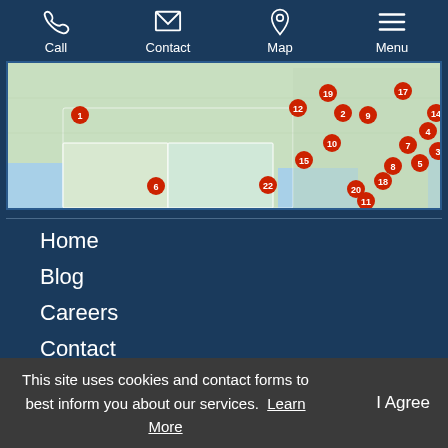Call | Contact | Map | Menu
[Figure (map): Map of southeastern United States showing numbered red location pins (1-22) across states including Louisiana, Florida, Georgia, North Carolina, South Carolina, and Virginia]
Home
Blog
Careers
Contact
This site uses cookies and contact forms to best inform you about our services. Learn More
I Agree